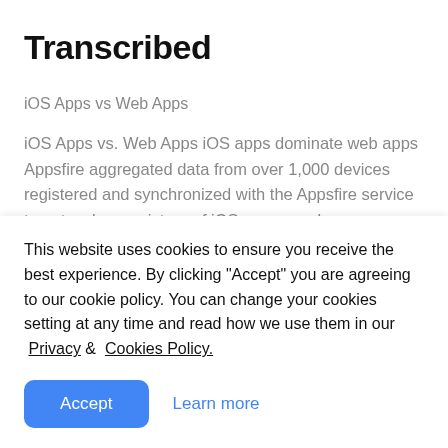Transcribed
iOS Apps vs Web Apps
iOS Apps vs. Web Apps iOS apps dominate web apps Appsfire aggregated data from over 1,000 devices registered and synchronized with the Appsfire service to get a clearer picture of iOS versus web app usage. With Apple reporting 10 billion downloads and Appsfire detecting a median of 88 downloaded apps per user, the app market is clearly
This website uses cookies to ensure you receive the best experience. By clicking "Accept" you are agreeing to our cookie policy. You can change your cookies setting at any time and read how we use them in our Privacy & Cookies Policy.
Accept   Learn more